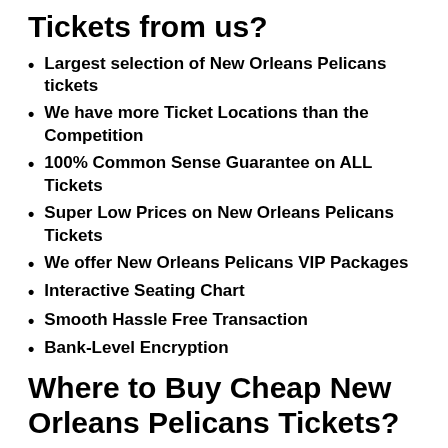Tickets from us?
Largest selection of New Orleans Pelicans tickets
We have more Ticket Locations than the Competition
100% Common Sense Guarantee on ALL Tickets
Super Low Prices on New Orleans Pelicans Tickets
We offer New Orleans Pelicans VIP Packages
Interactive Seating Chart
Smooth Hassle Free Transaction
Bank-Level Encryption
Where to Buy Cheap New Orleans Pelicans Tickets?
If you are looking for cheap New Orleans Pelicans tickets, you are in the right place! We offer some of the best-priced New Orleans Pelicans tickets online. Take a look at the listings above and see what you find. In our inventory, you will find all types of tickets like Front row, General Admission, Meet & Greet, Upper-Level, Lower-Level, and many other types of New Orleans Pelicans tickets. We obtain our tickets from ticket brokers, season ticket holders, fans, corporations and event promoters — not to mention being tapped...